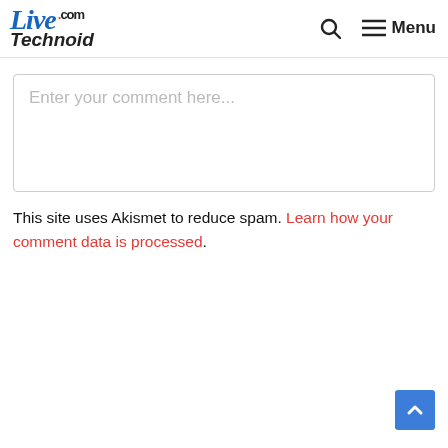LiveTechnoid.com — Menu
[Figure (screenshot): Comment text area with placeholder text 'Enter your comment here...']
This site uses Akismet to reduce spam. Learn how your comment data is processed.